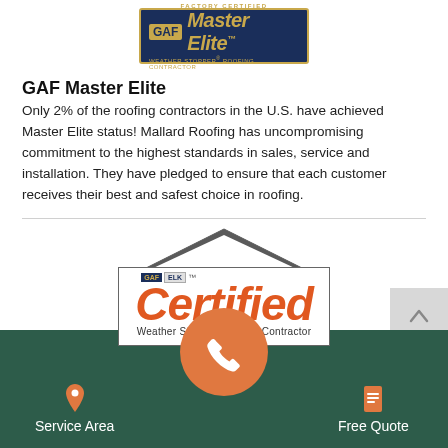[Figure (logo): GAF Factory Certified Master Elite Weather Stopper Roofing Contractor badge — dark navy background with gold border, GAF logo box, 'Master Elite' in gold text]
GAF Master Elite
Only 2% of the roofing contractors in the U.S. have achieved Master Elite status! Mallard Roofing has uncompromising commitment to the highest standards in sales, service and installation. They have pledged to ensure that each customer receives their best and safest choice in roofing.
[Figure (logo): GAF ELK Certified Weather Stopper Roofing Contractor logo with orange/red Certified text in italic, roof shape outline above, and border box]
[Figure (screenshot): Mobile app footer navigation bar with dark green background showing Service Area (map pin icon), phone call button (orange circle with phone icon), and Free Quote (document icon)]